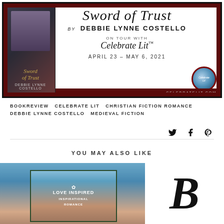[Figure (illustration): Book tour banner for 'Sword of Trust' by Debbie Lynne Costello, on tour with Celebrate Lit, April 23 - May 6, 2021. Features book cover on left, title text in center, and Celebrate Lit circular badge on right. Dark red border with CELEBRATELIT.COM footer.]
BOOKREVIEW  CELEBRATE LIT  CHRISTIAN FICTION ROMANCE  DEBBIE LYNNE COSTELLO  MEDIEVAL FICTION
[Figure (infographic): Social media share icons: Twitter bird, Facebook f, and Pinterest P icons]
YOU MAY ALSO LIKE
[Figure (illustration): Love Inspired Inspirational Romance book cover with blue sky and mountain/pyramid background]
[Figure (logo): Stylized italic B logo in black]